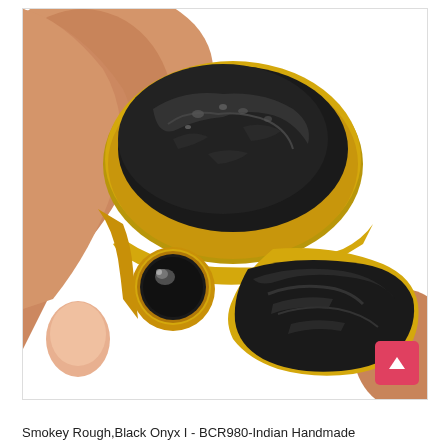[Figure (photo): A gold-plated handmade ring held between fingers, featuring two large rough black smokey/onyx stones set in textured gold bezels and one small round black onyx cabochon, against a white background.]
Smokey Rough,Black Onyx I - BCR980-Indian Handmade